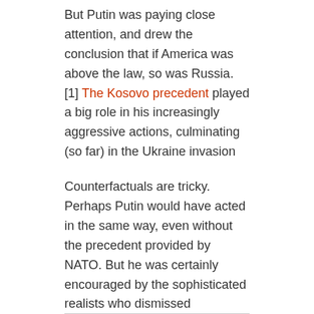But Putin was paying close attention, and drew the conclusion that if America was above the law, so was Russia. [1] The Kosovo precedent played a big role in his increasingly aggressive actions, culminating (so far) in the Ukraine invasion
Counterfactuals are tricky. Perhaps Putin would have acted in the same way, even without the precedent provided by NATO. But he was certainly encouraged by the sophisticated realists who dismissed international law as a figleaf.
fn1. Another participant in this debate, Glenn Greenwald, took the argument to its logical extreme and became a Putin backer, beginning with the invasion of Georgia in 2008.